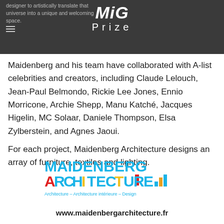designer to artistically translate that universe into a unique and welcoming space.
[Figure (logo): MiG Prize logo in white on dark grey background]
Maidenberg and his team have collaborated with A-list celebrities and creators, including Claude Lelouch, Jean-Paul Belmondo, Rickie Lee Jones, Ennio Morricone, Archie Shepp, Manu Katché, Jacques Higelin, MC Solaar, Daniele Thompson, Elsa Zylberstein, and Agnes Jaoui.
For each project, Maidenberg Architecture designs an array of furniture, textiles and lighting.
[Figure (logo): Maidenberg Architecture logo in multicolor text with tagline: Architecture – Architecture intérieure – Design]
www.maidenbergarchitecture.fr